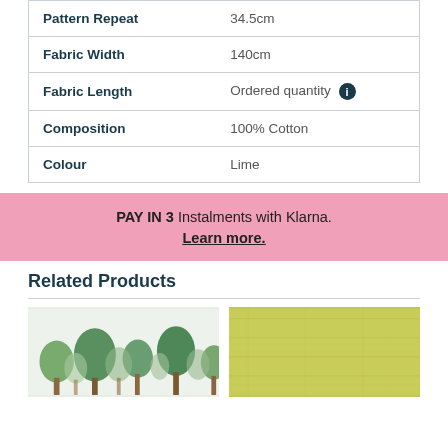| Property | Value |
| --- | --- |
| Pattern Repeat | 34.5cm |
| Fabric Width | 140cm |
| Fabric Length | Ordered quantity ℹ |
| Composition | 100% Cotton |
| Colour | Lime |
PAY IN 3 Instalments with Klarna. Learn more.
Related Products
[Figure (photo): Two product thumbnail images side by side: left shows a fabric with green tree/forest pattern on white background; right shows a plain lime/chartreuse linen-texture fabric.]